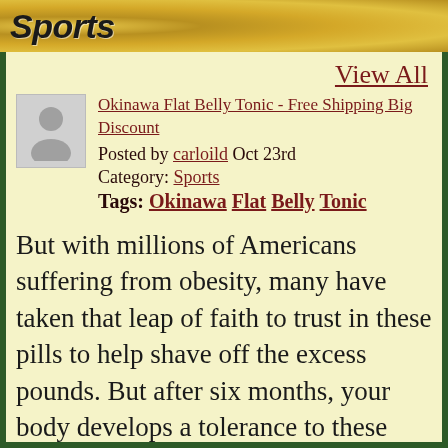Sports
View All
[Figure (illustration): Gray avatar/user placeholder icon]
Okinawa Flat Belly Tonic - Free Shipping Big Discount
Posted by carloild Oct 23rd
Category: Sports
Tags: Okinawa Flat Belly Tonic
But with millions of Americans suffering from obesity, many have taken that leap of faith to trust in these pills to help shave off the excess pounds. But after six months, your body develops a tolerance to these drugs' effects. Orlistat is present in fat